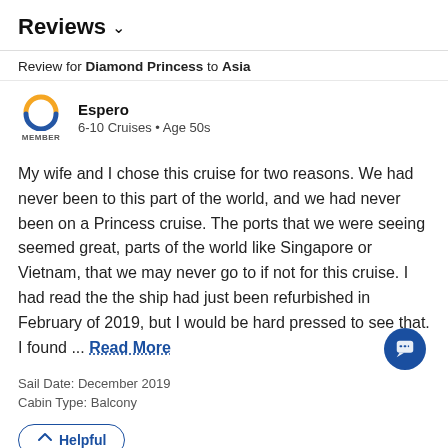Reviews ∨
Review for Diamond Princess to Asia
[Figure (logo): Cruise Critic circular logo with orange and blue arcs, labeled MEMBER below]
Espero
6-10 Cruises • Age 50s
My wife and I chose this cruise for two reasons. We had never been to this part of the world, and we had never been on a Princess cruise. The ports that we were seeing seemed great, parts of the world like Singapore or Vietnam, that we may never go to if not for this cruise. I had read the the ship had just been refurbished in February of 2019, but I would be hard pressed to see that. I found ... Read More
Sail Date: December 2019
Cabin Type: Balcony
Helpful